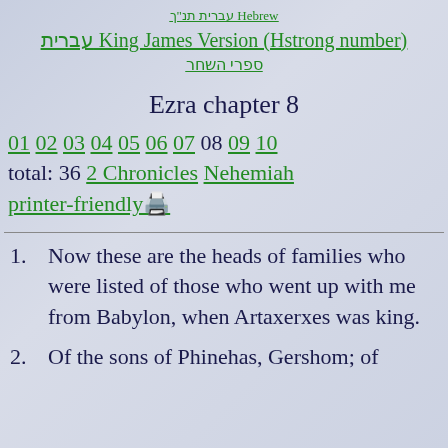עברית תנ"ך Hebrew King James Version (Hstrong number) ספרי השחר
Ezra chapter 8
01 02 03 04 05 06 07 08 09 10 total: 36 2 Chronicles Nehemiah printer-friendly🖨️
1. Now these are the heads of families who were listed of those who went up with me from Babylon, when Artaxerxes was king.
2. Of the sons of Phinehas, Gershom; of